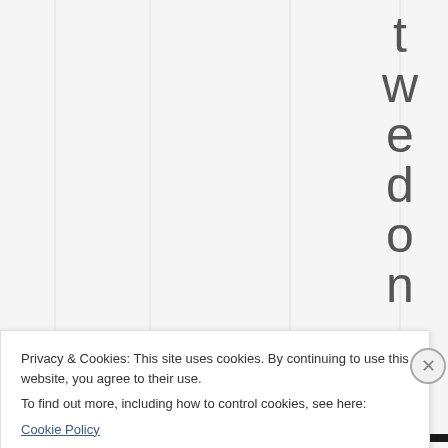t w e d o n , t w a
Privacy & Cookies: This site uses cookies. By continuing to use this website, you agree to their use.
To find out more, including how to control cookies, see here:
Cookie Policy
Close and accept